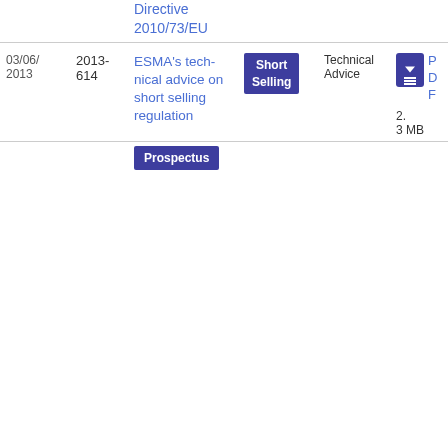| Date | Ref | Title | Topic | Type | File |
| --- | --- | --- | --- | --- | --- |
|  |  | Directive 2010/73/EU |  |  |  |
| 03/06/2013 | 2013-614 | ESMA's technical advice on short selling regulation | Short Selling | Technical Advice | PDF 2.3 MB |
|  |  | Prospectus |  |  |  |